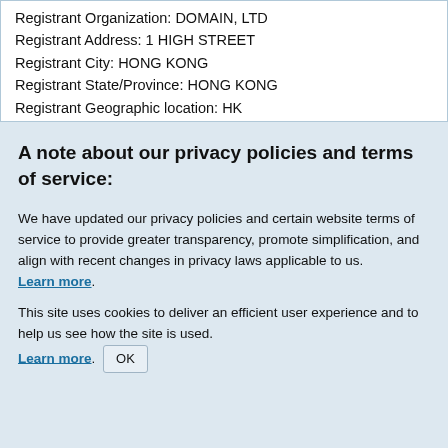Registrant Organization: DOMAIN, LTD
Registrant Address: 1 HIGH STREET
Registrant City: HONG KONG
Registrant State/Province: HONG KONG
Registrant Geographic location: HK
Registrant Postal Code: ...
A note about our privacy policies and terms of service:
We have updated our privacy policies and certain website terms of service to provide greater transparency, promote simplification, and align with recent changes in privacy laws applicable to us. Learn more.
This site uses cookies to deliver an efficient user experience and to help us see how the site is used. Learn more. OK